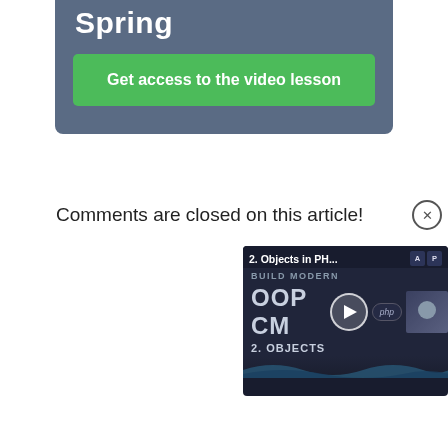Spring
Get access to the video lesson
Comments are closed on this article!
[Figure (screenshot): Video widget showing '2. Objects in PH...' lesson for BUILD MODERN OOP CMS course with a play button, php badge, and a person thumbnail]